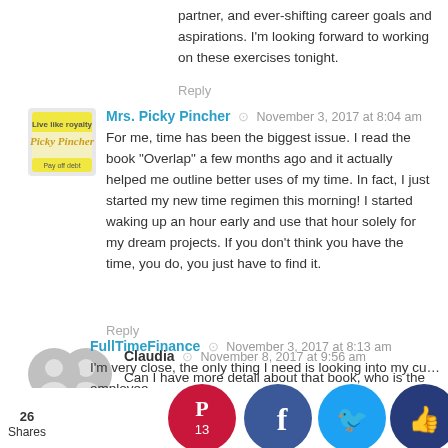partner, and ever-shifting career goals and aspirations. I'm looking forward to working on these exercises tonight.
Reply
[Figure (photo): Mrs. Picky Pincher avatar - yellow and white logo image]
Mrs. Picky Pincher · November 3, 2017 at 8:04 am
For me, time has been the biggest issue. I read the book "Overlap" a few months ago and it actually helped me outline better uses of my time. In fact, I just started my new time regimen this morning! I started waking up an hour early and use that hour solely for my dream projects. If you don't think you have the time, you do, you just have to find it.
Reply
[Figure (illustration): Generic user avatar placeholder (gray silhouette)]
Claudia · November 8, 2017 at 9:56 am
Can I have more detail about that book, who is the author? Seems interesting 😉
Reply
[Figure (illustration): Generic user avatar placeholder (gray silhouette)]
FullTimeFinance · November 3, 2017 at 8:13 am
I'm very close, the only thing I need is looking into my current employer...
[Figure (infographic): Social share bar with 26 Shares, Pinterest (13), Facebook, Twitter, Like, and crown buttons]